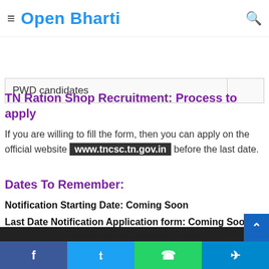Open Bharti
| PWD candidates |  |
TN Ration Shop Recruitment: Process to apply
If you are willing to fill the form, then you can apply on the official website www.tncsc.tn.gov.in before the last date.
Dates To Remember:
Notification Starting Date: Coming Soon
Last Date Notification Application form: Coming Soon